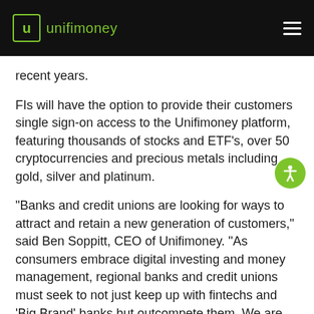unifimoney
recent years.
FIs will have the option to provide their customers single sign-on access to the Unifimoney platform, featuring thousands of stocks and ETF's, over 50 cryptocurrencies and precious metals including gold, silver and platinum.
"Banks and credit unions are looking for ways to attract and retain a new generation of customers," said Ben Soppitt, CEO of Unifimoney. "As consumers embrace digital investing and money management, regional banks and credit unions must seek to not just keep up with fintechs and 'Big Brand' banks but outcompete them. We are thrilled to be part of that future and to have our digital wealth management